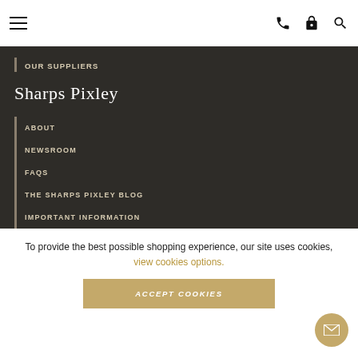OUR SUPPLIERS | [icons: phone, lock, search]
Sharps Pixley
ABOUT
NEWSROOM
FAQS
THE SHARPS PIXLEY BLOG
IMPORTANT INFORMATION
Contact
To provide the best possible shopping experience, our site uses cookies, view cookies options.
ACCEPT COOKIES